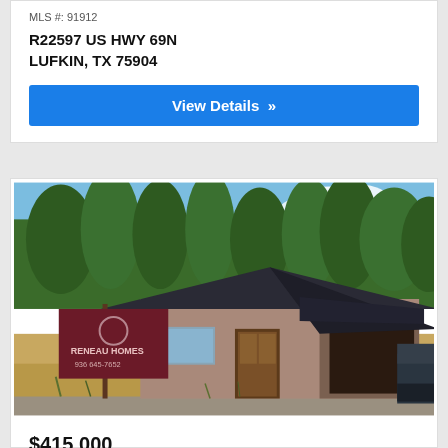MLS #: 91912
R22597 US HWY 69N
LUFKIN, TX 75904
View Details »
[Figure (photo): Exterior photo of a newly constructed single-story brick home with dark shingle roof under construction. A Reneau Homes sign and phone number 936 645-7652 visible in the foreground. Trees visible in background.]
$415,000